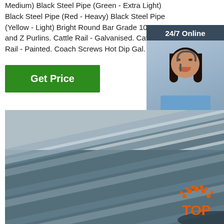Medium) Black Steel Pipe (Green - Extra Light) Black Steel Pipe (Red - Heavy) Black Steel Pipe (Yellow - Light) Bright Round Bar Grade 1020. C and Z Purlins. Cattle Rail - Galvanised. Cattle Rail - Painted. Coach Screws Hot Dip Gal.
Get Price
24/7 Online
[Figure (photo): Woman with headset, customer service representative]
Click here for free chat !
QUOTATION
[Figure (photo): Steel round bars / rebar stacked in a yard]
[Figure (logo): TOP logo with orange dots arranged in an arc above the word TOP in orange]